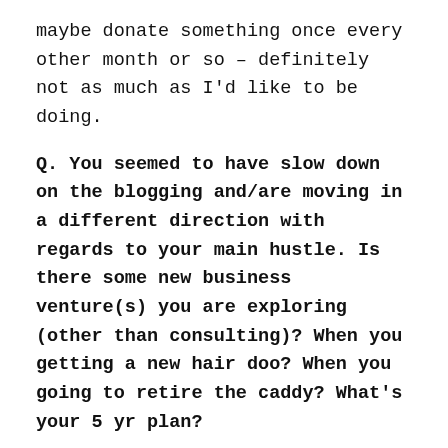maybe donate something once every other month or so – definitely not as much as I'd like to be doing.
Q. You seemed to have slow down on the blogging and/are moving in a different direction with regards to your main hustle. Is there some new business venture(s) you are exploring (other than consulting)? When you getting a new hair doo? When you going to retire the caddy? What's your 5 yr plan?
You're making me work today, huh?! :) Yes, there is a big project I'm working on now that's